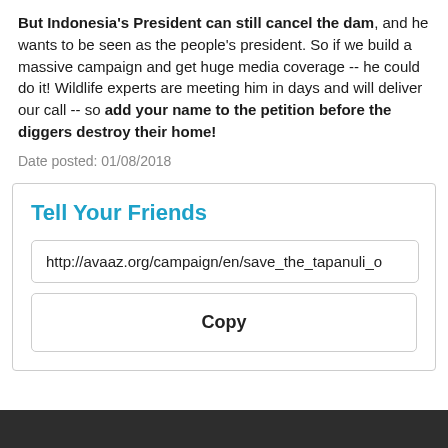But Indonesia's President can still cancel the dam, and he wants to be seen as the people's president. So if we build a massive campaign and get huge media coverage -- he could do it! Wildlife experts are meeting him in days and will deliver our call -- so add your name to the petition before the diggers destroy their home!
Date posted: 01/08/2018
Tell Your Friends
http://avaaz.org/campaign/en/save_the_tapanuli_o
Copy